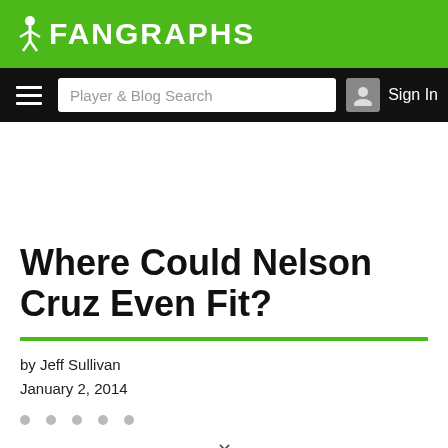FanGraphs
[Figure (screenshot): FanGraphs website navigation bar with hamburger menu, Player & Blog Search input, and Sign In button with user icon]
Where Could Nelson Cruz Even Fit?
by Jeff Sullivan
January 2, 2014